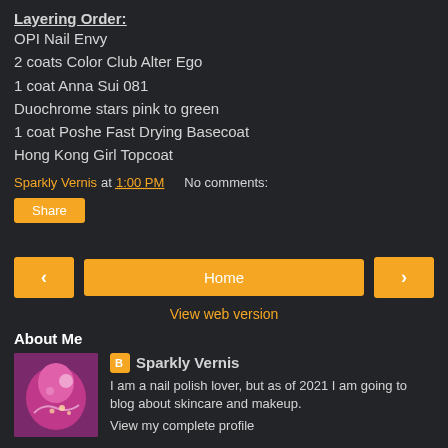Layering Order:
OPI Nail Envy
2 coats Color Club Alter Ego
1 coat Anna Sui 081
Duochrome stars pink to green
1 coat Poshe Fast Drying Basecoat
Hong Kong Girl Topcoat
Sparkly Vernis at 1:00 PM   No comments:
Share
Home
View web version
About Me
[Figure (photo): Profile photo showing pink nail art with decorative design]
Sparkly Vernis
I am a nail polish lover, but as of 2021 I am going to blog about skincare and makeup.
View my complete profile